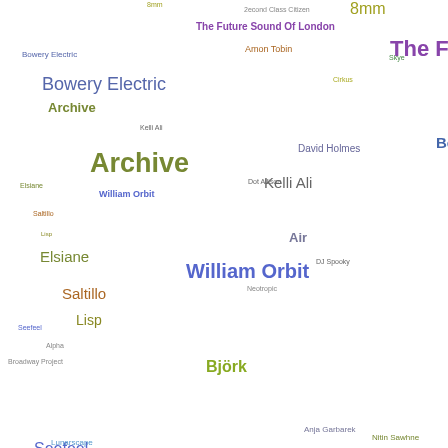[Figure (other): Tag cloud / scatter of music artist names in various colors and sizes positioned across the canvas. Artists include: 8mm, 2econd Class Citizen, The Future Sound Of London, Amon Tobin, Skye, Bowery Electric, Cirkus, Archive, Kelli Ali, David Holmes, Bo (truncated), Elsiane, Dot Allison, William Orbit, Saltillo, Lisp, Air, DJ Spooky, Neotropic, Seefeel, Alpha, Broadway Project, Björk, Anja Garbarek, Nitin Sawhne (truncated), Lunarscape]